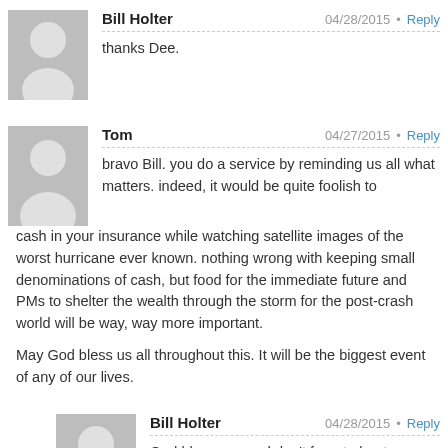[Figure (illustration): Gray default user avatar placeholder for Bill Holter (first comment)]
Bill Holter  04/28/2015 • Reply
thanks Dee.
[Figure (illustration): Gray default user avatar placeholder for Tom]
Tom  04/27/2015 • Reply
bravo Bill. you do a service by reminding us all what matters. indeed, it would be quite foolish to cash in your insurance while watching satellite images of the worst hurricane ever known. nothing wrong with keeping small denominations of cash, but food for the immediate future and PMs to shelter the wealth through the storm for the post-crash world will be way, way more important.

May God bless us all throughout this. It will be the biggest event of any of our lives.
[Figure (illustration): Gray default user avatar placeholder for Bill Holter (second comment)]
Bill Holter  04/28/2015 • Reply
God bless you and don't forget about provisions for your animals!